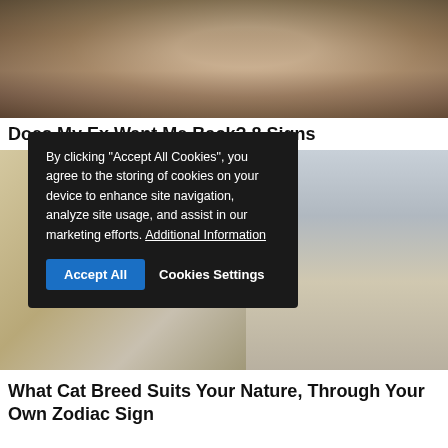[Figure (photo): Woman sitting on a couch looking at a smartphone, wearing a white top]
Does My Ex Want Me Back? 8 Signs
[Figure (photo): Cat on a tiled floor with blue objects scattered around, with a person's foot wearing a watch visible]
By clicking "Accept All Cookies", you agree to the storing of cookies on your device to enhance site navigation, analyze site usage, and assist in our marketing efforts. Additional Information
What Cat Breed Suits Your Nature, Through Your Own Zodiac Sign